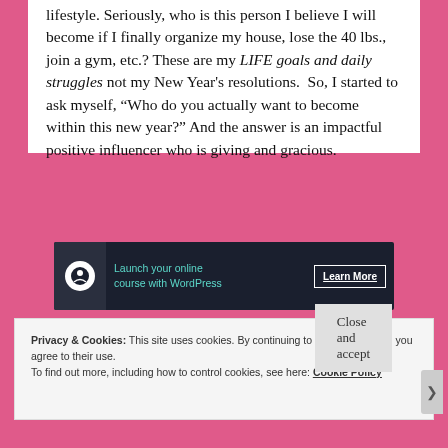lifestyle. Seriously, who is this person I believe I will become if I finally organize my house, lose the 40 lbs., join a gym, etc.? These are my LIFE goals and daily struggles not my New Year's resolutions.  So, I started to ask myself, “Who do you actually want to become within this new year?” And the answer is an impactful positive influencer who is giving and gracious.
[Figure (other): Advertisement banner: dark background with a circular logo icon, text 'Launch your online course with WordPress' in teal, and a 'Learn More' button.]
REPORT THIS AD
Privacy & Cookies: This site uses cookies. By continuing to use this website, you agree to their use.
To find out more, including how to control cookies, see here: Cookie Policy
Close and accept